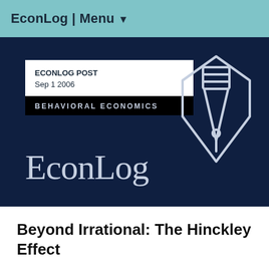EconLog | Menu ▼
[Figure (screenshot): EconLog blog banner on dark navy background showing ECONLOG POST Sep 1 2006 label, BEHAVIORAL ECONOMICS category bar, EconLog logo text, and a pen/nib icon in outline style]
Beyond Irrational: The Hinckley Effect